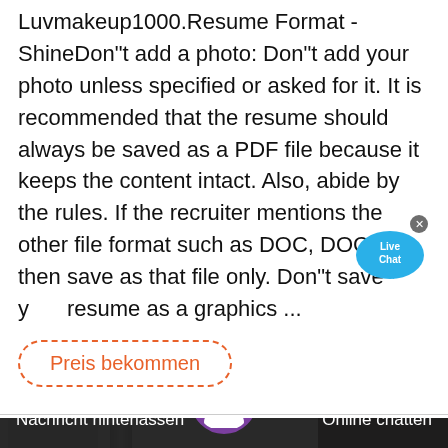Luvmakeup1000.Resume Format - ShineDon"t add a photo: Don"t add your photo unless specified or asked for it. It is recommended that the resume should always be saved as a PDF file because it keeps the content intact. Also, abide by the rules. If the recruiter mentions the other file format such as DOC, DOCX then save as that file only. Don"t save your resume as a graphics ...
[Figure (illustration): Live Chat speech bubble icon with blue color and 'Live Chat' text, with orange X close button]
Preis bekommen
[Figure (photo): Industrial machinery photograph showing metal components, a red cylindrical object, and dark machinery parts in the background. Bottom bar shows 'Nachricht hinterlassen' on left, chat agent avatar in center, and 'Online chatten' on right. Orange scroll-to-top button in bottom right.]